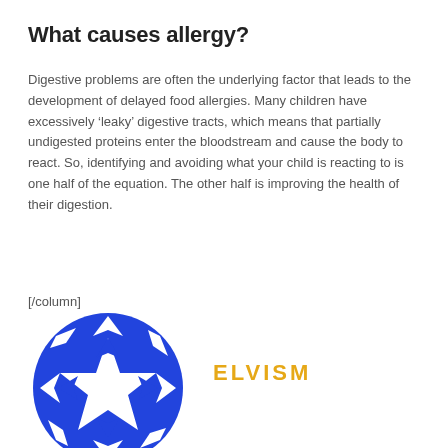What causes allergy?
Digestive problems are often the underlying factor that leads to the development of delayed food allergies. Many children have excessively ‘leaky’ digestive tracts, which means that partially undigested proteins enter the bloodstream and cause the body to react. So, identifying and avoiding what your child is reacting to is one half of the equation. The other half is improving the health of their digestion.
[/column]
[Figure (logo): Circular logo with blue and white geometric star/arrow pattern, with the text ELVISM in gold/orange to the right]